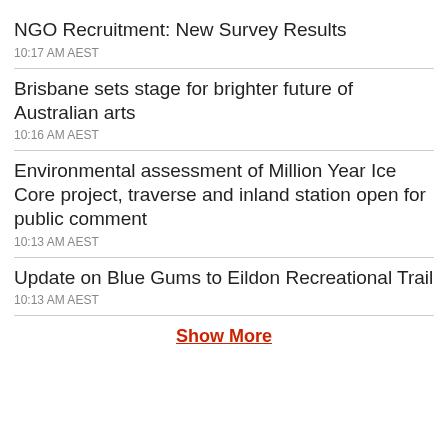NGO Recruitment: New Survey Results
10:17 AM AEST
Brisbane sets stage for brighter future of Australian arts
10:16 AM AEST
Environmental assessment of Million Year Ice Core project, traverse and inland station open for public comment
10:13 AM AEST
Update on Blue Gums to Eildon Recreational Trail
10:13 AM AEST
Show More